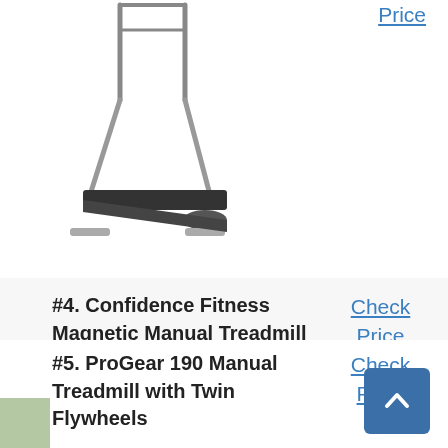[Figure (photo): Partial view of a manual treadmill (top portion visible), gray and black, shown at an angle from the front-right side.]
Check
Price
#4. Confidence Fitness Magnetic Manual Treadmill
Check
Price
[Figure (photo): Confidence Fitness Magnetic Manual Treadmill shown from the side, black running belt with upright gray handles.]
#5. ProGear 190 Manual Treadmill with Twin Flywheels
Check
Price